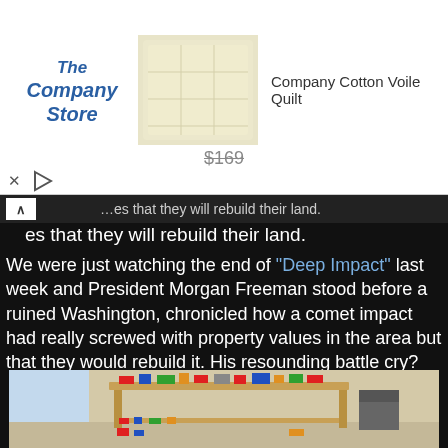[Figure (screenshot): Advertisement banner for The Company Store showing a Company Cotton Voile Quilt image with price $169, an X close button and a play button]
[truncated] ...es that they will rebuild their land.
We were just watching the end of "Deep Impact" last week and President Morgan Freeman stood before a ruined Washington, chronicled how a comet impact had really screwed with property values in the area but that they would rebuild it.  His resounding battle cry?  "So now, let us begin."  What??   "So now, let us begin?!?"  That's the best President Morgan Freeman can muster??  Hasn't he seen his own movies??   Did the scriptwriter forget to finish the speech??
It was pathetic.
[Figure (photo): Photo of a large wooden table covered with Lego city/train sets in a bright room]